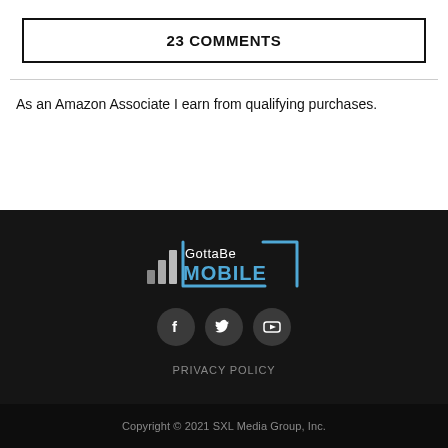23 COMMENTS
As an Amazon Associate I earn from qualifying purchases.
[Figure (logo): GottaBe Mobile logo in white and blue on dark background]
[Figure (infographic): Social media icons: Facebook, Twitter, YouTube]
PRIVACY POLICY
Copyright © 2021 SXL Media Group, Inc.